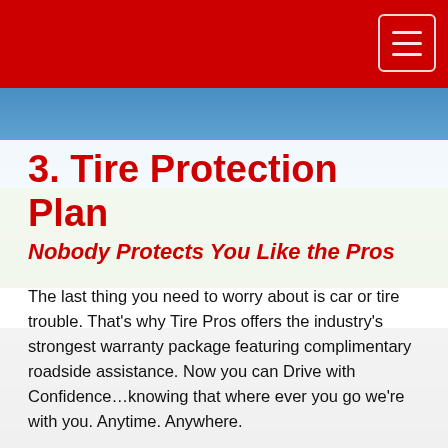3. Tire Protection Plan
Nobody Protects You Like the Pros
The last thing you need to worry about is car or tire trouble. That's why Tire Pros offers the industry's strongest warranty package featuring complimentary roadside assistance. Now you can Drive with Confidence…knowing that where ever you go we're with you. Anytime. Anywhere.
No matter how strong we back the products and services we deliver, tires and vehicles will inevitably fail. That's why you need a true professional and a